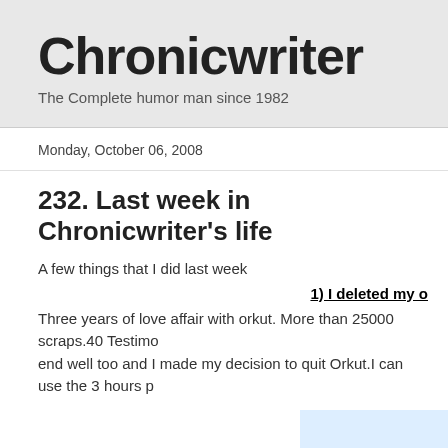Chronicwriter
The Complete humor man since 1982
Monday, October 06, 2008
232. Last week in Chronicwriter's life
A few things that I did last week
1) I deleted my o
Three years of love affair with orkut. More than 25000 scraps.40 Testimo end well too and I made my decision to quit Orkut.I can use the 3 hours p
[Figure (logo): Orkut logo text partially visible, pink/magenta colored large letters 'Ork' on light blue background]